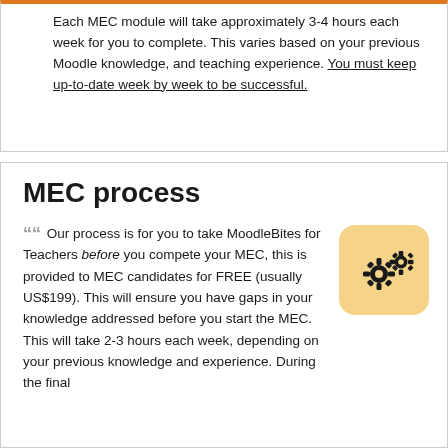Each MEC module will take approximately 3-4 hours each week for you to complete. This varies based on your previous Moodle knowledge, and teaching experience. You must keep up-to-date week by week to be successful.
MEC process
Our process is for you to take MoodleBites for Teachers before you compete your MEC, this is provided to MEC candidates for FREE (usually US$199). This will ensure you have gaps in your knowledge addressed before you start the MEC. This will take 2-3 hours each week, depending on your previous knowledge and experience. During the final
[Figure (illustration): Gear/settings icon (two interlocking cog wheels) on a rounded square orange/yellow background]